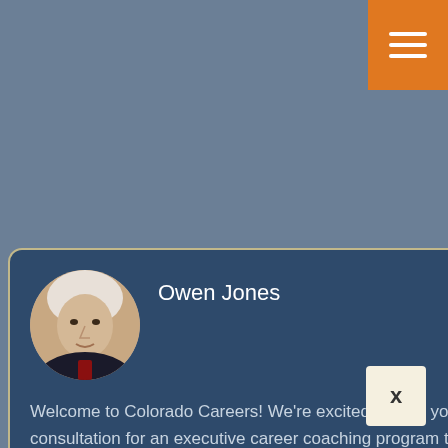[Figure (screenshot): Orange hamburger menu button in top-right corner with three white horizontal lines]
[Figure (photo): Circular portrait photo of Owen Jones, a professional man with white/silver hair wearing a dark suit]
Owen Jones
Welcome to Colorado Careers! We’re excited to help you elevate your career! Request a consultation for an executive career coaching program today.
SCHEDULE A CONSULTATION
New Job – Starting it Right